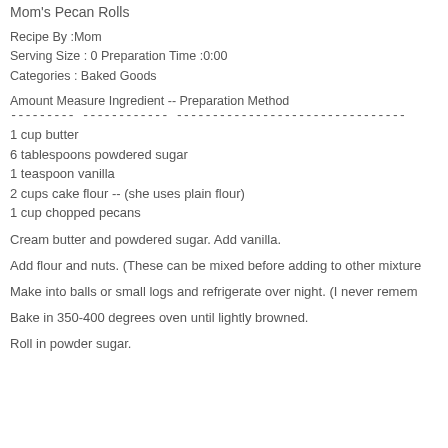Mom's Pecan Rolls
Recipe By :Mom
Serving Size : 0 Preparation Time :0:00
Categories : Baked Goods
Amount Measure Ingredient -- Preparation Method
--------- ------------ --------------------------------
1 cup butter
6 tablespoons powdered sugar
1 teaspoon vanilla
2 cups cake flour -- (she uses plain flour)
1 cup chopped pecans
Cream butter and powdered sugar. Add vanilla.
Add flour and nuts. (These can be mixed before adding to other mixture
Make into balls or small logs and refrigerate over night. (I never remem
Bake in 350-400 degrees oven until lightly browned.
Roll in powder sugar.